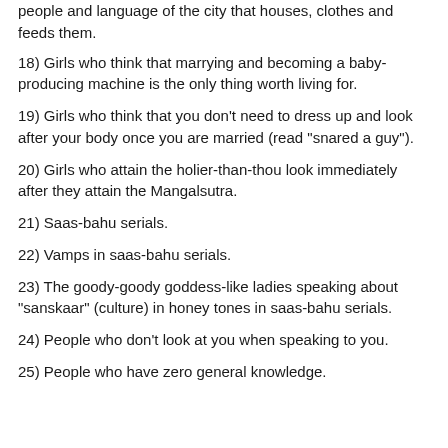people and language of the city that houses, clothes and feeds them.
18) Girls who think that marrying and becoming a baby-producing machine is the only thing worth living for.
19) Girls who think that you don't need to dress up and look after your body once you are married (read "snared a guy").
20) Girls who attain the holier-than-thou look immediately after they attain the Mangalsutra.
21) Saas-bahu serials.
22) Vamps in saas-bahu serials.
23) The goody-goody goddess-like ladies speaking about "sanskaar" (culture) in honey tones in saas-bahu serials.
24) People who don't look at you when speaking to you.
25) People who have zero general knowledge.